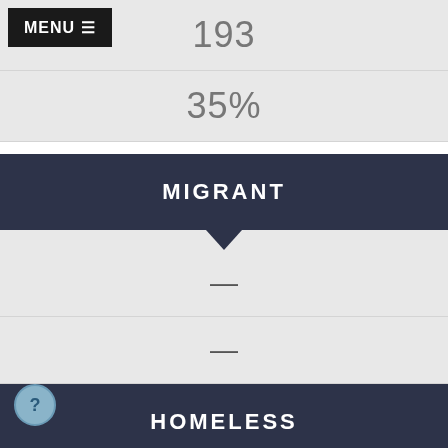[Figure (screenshot): MENU button with hamburger icon in top-left corner]
193
35%
MIGRANT
—
—
HOMELESS
11
2%